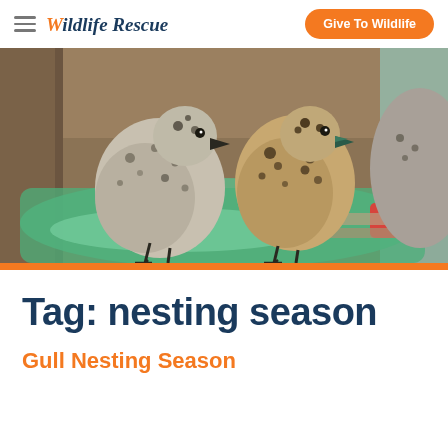Wildlife Rescue | Give To Wildlife
[Figure (photo): Two fluffy gull chicks standing in a green water dish inside a wildlife rescue enclosure. The chicks have speckled grey-brown plumage and dark beaks. Background shows wooden fencing and a red bowl.]
Tag: nesting season
Gull Nesting Season